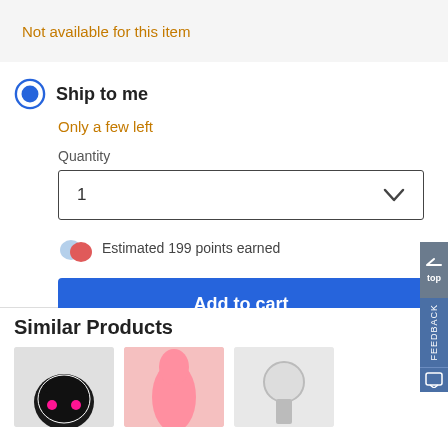Not available for this item
Ship to me
Only a few left
Quantity
1
Estimated 199 points earned
Add to cart
Similar Products